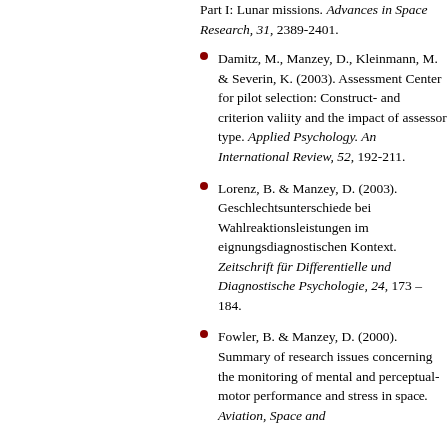Part I: Lunar missions. Advances in Space Research, 31, 2389-2401.
Damitz, M., Manzey, D., Kleinmann, M. & Severin, K. (2003). Assessment Center for pilot selection: Construct- and criterion valiity and the impact of assessor type. Applied Psychology. An International Review, 52, 192-211.
Lorenz, B. & Manzey, D. (2003). Geschlechtsunterschiede bei Wahlreaktionsleistungen im eignungsdiagnostischen Kontext. Zeitschrift für Differentielle und Diagnostische Psychologie, 24, 173 – 184.
Fowler, B. & Manzey, D. (2000). Summary of research issues concerning the monitoring of mental and perceptual-motor performance and stress in space. Aviation, Space and